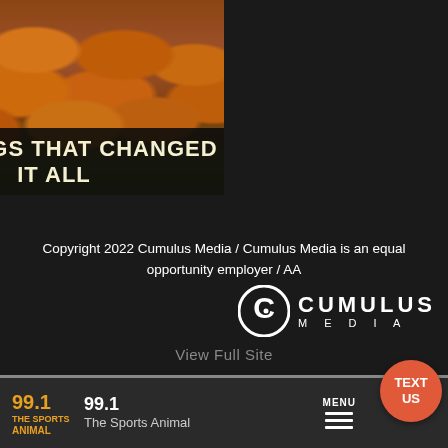[Figure (photo): Plate of golden-brown crispy chicken wings on a bed of green lettuce, with bold text overlay at the bottom reading THE WINGS THAT CHANGED IT ALL]
Copyright 2022 Cumulus Media / Cumulus Media is an equal opportunity employer / AA
[Figure (logo): Cumulus Media logo: circular C icon with dot in center, followed by CUMULUS wordmark and MEDIA subtext in white on dark background]
View Full Site
99.1 The Sports Animal | 99.1 | The Sports Animal | MENU | TEXT US